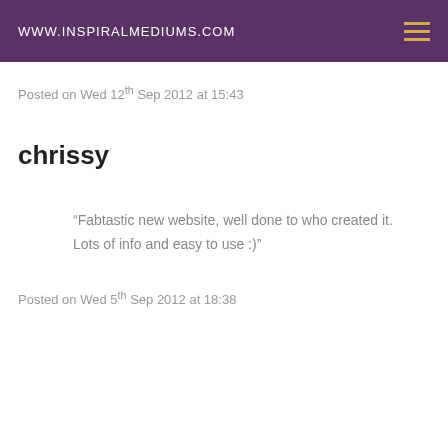Www.Inspiralmediums.com
Posted on Wed 12th Sep 2012 at 15:43
chrissy
“Fabtastic new website, well done to who created it. Lots of info and easy to use :)”
Posted on Wed 5th Sep 2012 at 18:38